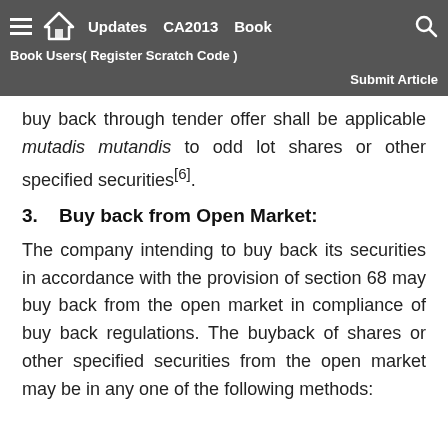Updates  CA2013  Book  Book Users( Register Scratch Code )  Submit Article
buy back through tender offer shall be applicable mutadis mutandis to odd lot shares or other specified securities[6].
3.    Buy back from Open Market:
The company intending to buy back its securities in accordance with the provision of section 68 may buy back from the open market in compliance of buy back regulations. The buyback of shares or other specified securities from the open market may be in any one of the following methods: